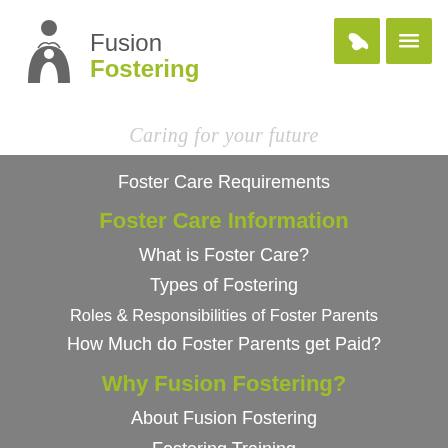[Figure (logo): Fusion Fostering logo with icon of parent and child figures, company name, and tagline 'Caring for your future']
Foster Care Requirements
Foster Care Information
What is Foster Care?
Types of Fostering
Roles & Responsibilities of Foster Parents
How Much do Foster Parents get Paid?
Why Fusion Fostering?
About Fusion Fostering
Fostering Training